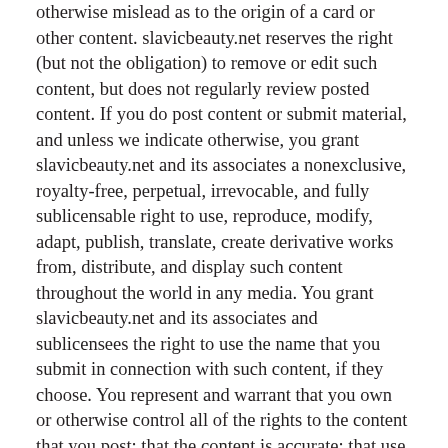otherwise mislead as to the origin of a card or other content. slavicbeauty.net reserves the right (but not the obligation) to remove or edit such content, but does not regularly review posted content. If you do post content or submit material, and unless we indicate otherwise, you grant slavicbeauty.net and its associates a nonexclusive, royalty-free, perpetual, irrevocable, and fully sublicensable right to use, reproduce, modify, adapt, publish, translate, create derivative works from, distribute, and display such content throughout the world in any media. You grant slavicbeauty.net and its associates and sublicensees the right to use the name that you submit in connection with such content, if they choose. You represent and warrant that you own or otherwise control all of the rights to the content that you post: that the content is accurate: that use of the content you supply does not violate this policy and will not cause injury to any person or entity: and that you will indemnify slavicbeauty.net or its associates for all claims resulting from content you supply. slavicbeauty.net has the right but not the obligation to monitor and edit or remove any activity or content. slavicbeauty.net takes no responsibility and assumes no liability for any content posted by you or any third party.